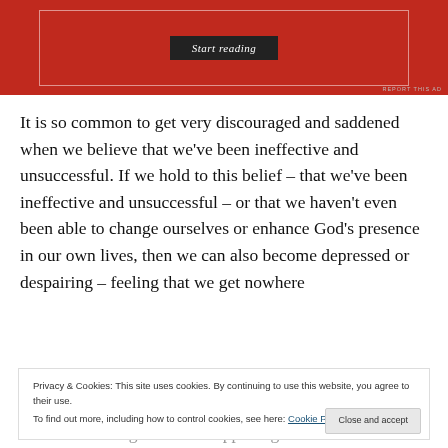[Figure (screenshot): Red advertisement banner with a 'Start reading' button in dark background, and 'REPORT THIS AD' label at bottom right]
It is so common to get very discouraged and saddened when we believe that we've been ineffective and unsuccessful. If we hold to this belief – that we've been ineffective and unsuccessful – or that we haven't even been able to change ourselves or enhance God's presence in our own lives, then we can also become depressed or despairing – feeling that we get nowhere
Privacy & Cookies: This site uses cookies. By continuing to use this website, you agree to their use.
To find out more, including how to control cookies, see here: Cookie Policy
to see something different happening. If we can see that